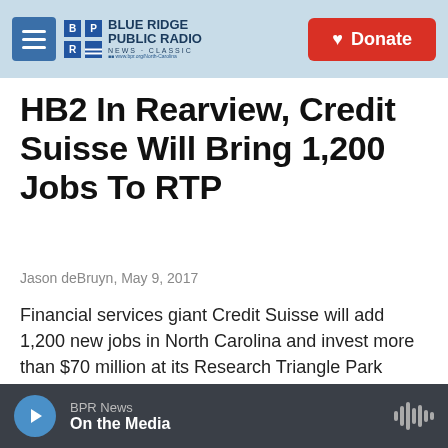Blue Ridge Public Radio — NEWS + CLASSIC | Donate
HB2 In Rearview, Credit Suisse Will Bring 1,200 Jobs To RTP
Jason deBruyn,  May 9, 2017
Financial services giant Credit Suisse will add 1,200 new jobs in North Carolina and invest more than $70 million at its Research Triangle Park campus,...
[Figure (screenshot): Load More button with rounded rectangle border]
[Figure (photo): Partial image visible at bottom of page showing blue background with THE text]
BPR News | On the Media — audio player bar